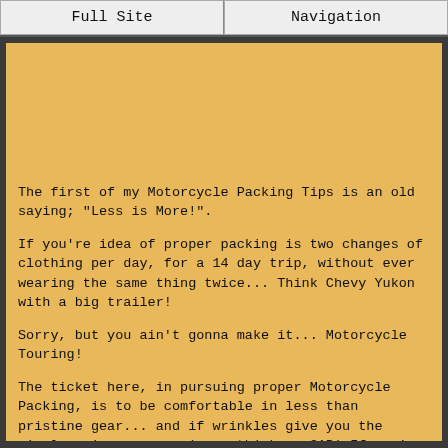Full Site | Navigation
The first of my Motorcycle Packing Tips is an old saying; "Less is More!".
If you're idea of proper packing is two changes of clothing per day, for a 14 day trip, without ever wearing the same thing twice... Think Chevy Yukon with a big trailer!
Sorry, but you ain't gonna make it... Motorcycle Touring!
The ticket here, in pursuing proper Motorcycle Packing, is to be comfortable in less than pristine gear... and if wrinkles give you the wiggly quivers... again... think... CAR! If you're a prissy, gotta have your hair just right... and your jeans sweetly creased kind of creature... I can promise you one thing if you set about Motorcycle Touring...
You are gonna be one unhappy son-of-a-biscuit!